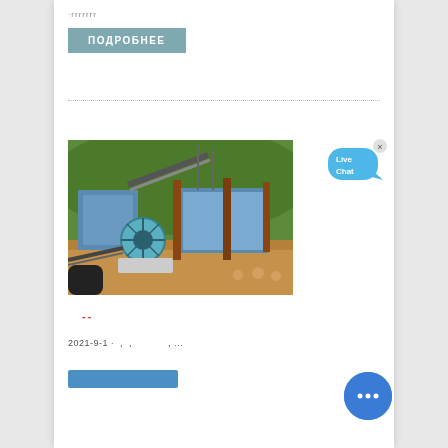·rrrrrrr
ПОДРОБНЕЕ
[Figure (photo): Industrial mining/sand washing equipment facility with conveyor belts, large blue machinery, and a wheel washing unit set against a green hillside background]
--
2021-9-1  ·  ,  ,              ,  ...